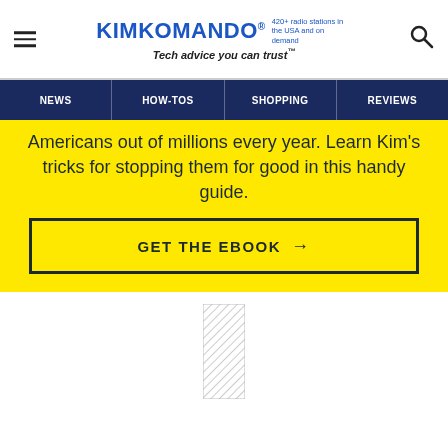KIMKOMANDO® 420+ radio stations in the USA and on demand | Tech advice you can trust™
Americans out of millions every year. Learn Kim's tricks for stopping them for good in this handy guide.
GET THE EBOOK →
[Figure (other): Hatched/crosshatched placeholder rectangle in white space below the yellow promo section]